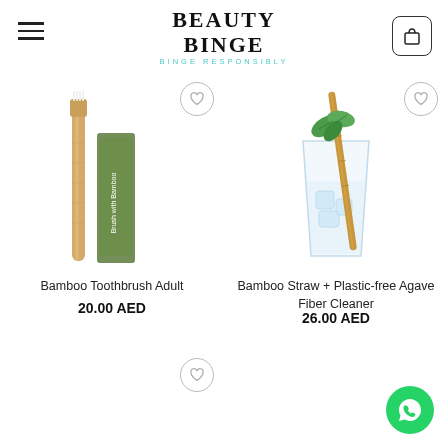BEAUTY BINGE — BINGE RESPONSIBLY
[Figure (photo): Bamboo toothbrush with white bristles leaning against its green cardboard packaging]
Bamboo Toothbrush Adult
20.00 AED
[Figure (photo): A glass with ice water, mint leaves, and a bamboo straw]
Bamboo Straw + Plastic-free Agave Fiber Cleaner
26.00 AED